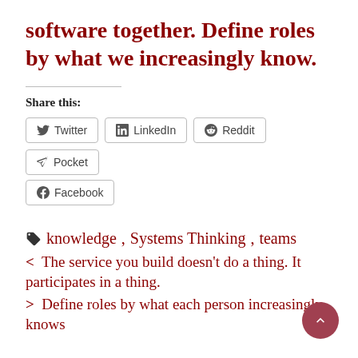software together. Define roles by what we increasingly know.
Share this:
Twitter  LinkedIn  Reddit  Pocket  Facebook
knowledge, Systems Thinking, teams
< The service you build doesn't do a thing. It participates in a thing.
> Define roles by what each person increasingly knows